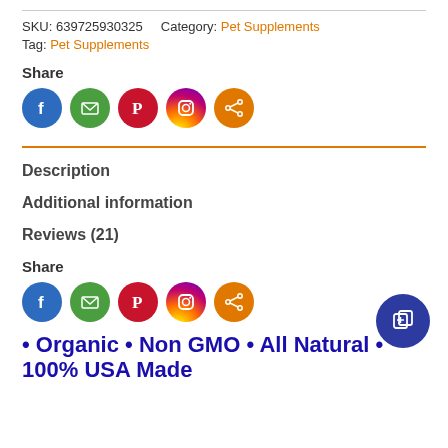SKU: 639725930325    Category: Pet Supplements
Tag: Pet Supplements
Share
[Figure (infographic): Social share icons: Facebook (blue), Email (green), Pinterest (red), Instagram (gradient), Share (orange)]
Description
Additional information
Reviews (21)
Share
[Figure (infographic): Social share icons: Facebook (blue), Email (green), Pinterest (red), Instagram (gradient), Share (orange)]
• Organic • Non GMO • All Natural • 100% USA Made